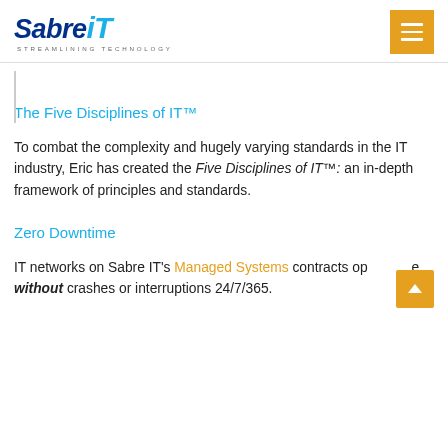[Figure (logo): Sabre IT logo with tagline 'STREAMLINING TECHNOLOGY']
The Five Disciplines of IT™
To combat the complexity and hugely varying standards in the IT industry, Eric has created the Five Disciplines of IT™: an in-depth framework of principles and standards.
Zero Downtime
IT networks on Sabre IT's Managed Systems contracts operate without crashes or interruptions 24/7/365.